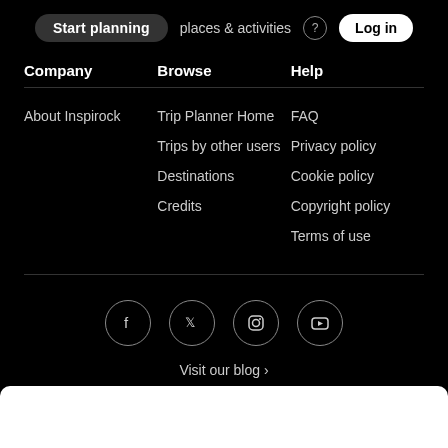Start planning   places & activities   Log in
Company
Browse
Help
About Inspirock
Trip Planner Home
FAQ
Trips by other users
Privacy policy
Destinations
Cookie policy
Credits
Copyright policy
Terms of use
[Figure (illustration): Social media icons: Facebook, Twitter, Instagram, YouTube — each in a circle]
Visit our blog ›